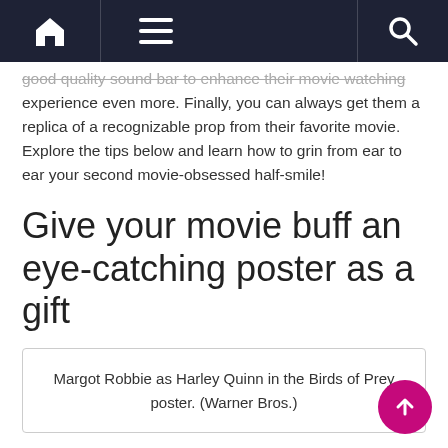Navigation bar with home, menu, and search icons
good quality sound bar to enhance their movie watching experience even more. Finally, you can always get them a replica of a recognizable prop from their favorite movie. Explore the tips below and learn how to grin from ear to ear your second movie-obsessed half-smile!
Give your movie buff an eye-catching poster as a gift
Margot Robbie as Harley Quinn in the Birds of Prey poster. (Warner Bros.)
Read more: These are the best old movies to watch on a date when theaters are closed